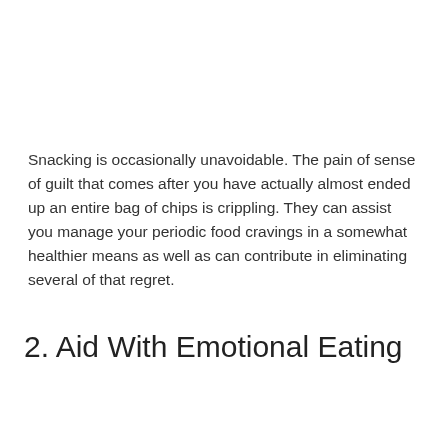Snacking is occasionally unavoidable. The pain of sense of guilt that comes after you have actually almost ended up an entire bag of chips is crippling. They can assist you manage your periodic food cravings in a somewhat healthier means as well as can contribute in eliminating several of that regret.
2. Aid With Emotional Eating